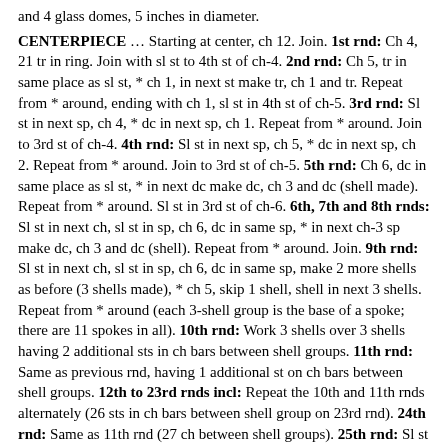and 4 glass domes, 5 inches in diameter.
CENTERPIECE … Starting at center, ch 12. Join. 1st rnd: Ch 4, 21 tr in ring. Join with sl st to 4th st of ch-4. 2nd rnd: Ch 5, tr in same place as sl st, * ch 1, in next st make tr, ch 1 and tr. Repeat from * around, ending with ch 1, sl st in 4th st of ch-5. 3rd rnd: Sl st in next sp, ch 4, * dc in next sp, ch 1. Repeat from * around. Join to 3rd st of ch-4. 4th rnd: Sl st in next sp, ch 5, * dc in next sp, ch 2. Repeat from * around. Join to 3rd st of ch-5. 5th rnd: Ch 6, dc in same place as sl st, * in next dc make dc, ch 3 and dc (shell made). Repeat from * around. Sl st in 3rd st of ch-6. 6th, 7th and 8th rnds: Sl st in next ch, sl st in sp, ch 6, dc in same sp, * in next ch-3 sp make dc, ch 3 and dc (shell). Repeat from * around. Join. 9th rnd: Sl st in next ch, sl st in sp, ch 6, dc in same sp, make 2 more shells as before (3 shells made), * ch 5, skip 1 shell, shell in next 3 shells. Repeat from * around (each 3-shell group is the base of a spoke; there are 11 spokes in all). 10th rnd: Work 3 shells over 3 shells having 2 additional sts in ch bars between shell groups. 11th rnd: Same as previous rnd, having 1 additional st on ch bars between shell groups. 12th to 23rd rnds incl: Repeat the 10th and 11th rnds alternately (26 sts in ch bars between shell group on 23rd rnd). 24th rnd: Same as 11th rnd (27 ch between shell groups). 25th rnd: Sl st across to sp of center shell of this group, ch 6, dc in same sp, * ch 43, in sp of center shell of next group make a shell as before. Repeat from * around, joining last ch-43 to 3rd st of ch-6 (this begins scalloped edge). 26th rnd: Sl st